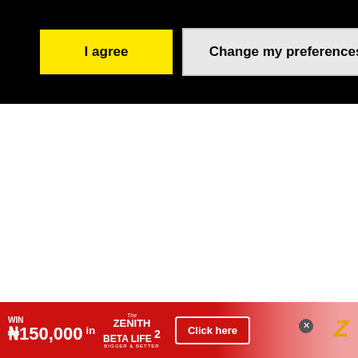[Figure (screenshot): Cookie consent bar on black background with two buttons: 'I agree' (yellow) and 'Change my preferences' (light gray)]
[Figure (infographic): Advertisement banner: WIN ₦150,000 in The Zenith Beta Life 2 - Bigger & Better. Red gradient background with a 'Click here' button, close X button, Zenith Z logo, and a person in background.]